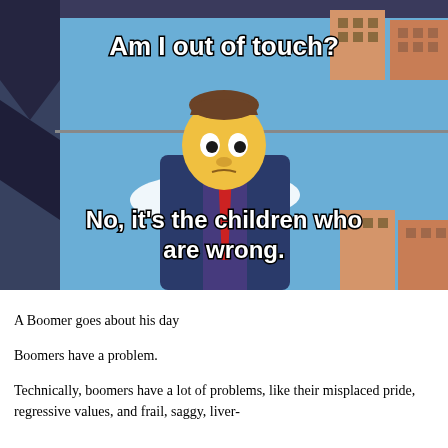[Figure (illustration): Simpsons meme with Principal Skinner. Top panel shows text 'Am I out of touch?' over a Simpsons scene. Bottom panel shows Skinner character with text 'No, it's the children who are wrong.']
A Boomer goes about his day
Boomers have a problem.
Technically, boomers have a lot of problems, like their misplaced pride, regressive values, and frail, saggy, liver-